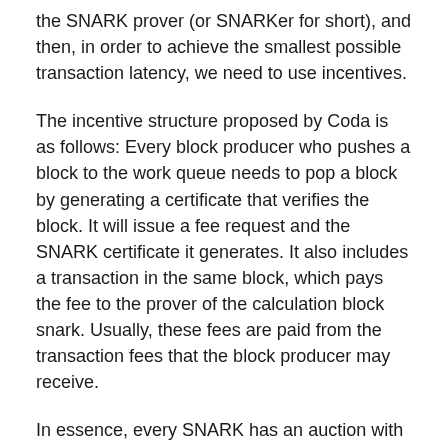the SNARK prover (or SNARKer for short), and then, in order to achieve the smallest possible transaction latency, we need to use incentives.
The incentive structure proposed by Coda is as follows: Every block producer who pushes a block to the work queue needs to pop a block by generating a certificate that verifies the block. It will issue a fee request and the SNARK certificate it generates. It also includes a transaction in the same block, which pays the fee to the prover of the calculation block snark. Usually, these fees are paid from the transaction fees that the block producer may receive.
In essence, every SNARK has an auction with the lowest price. Block producers want to pay as little proof fees as possible to SNARKer, and SNARKer wants to charge as much as possible for their proof.